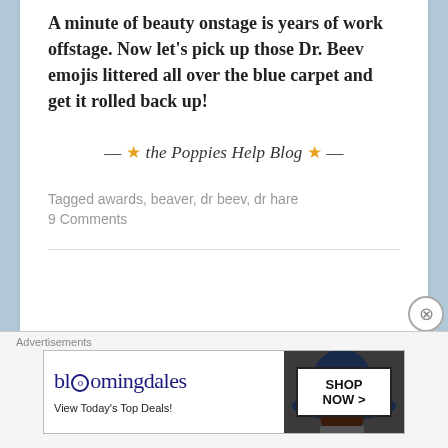A minute of beauty onstage is years of work offstage. Now let's pick up those Dr. Beev emojis littered all over the blue carpet and get it rolled back up!
— ★ the Poppies Help Blog ★ —
Tagged awards, beaver, dr beev, dr hare
9 Comments
[Figure (other): Bloomingdale's advertisement banner with hat image and Shop Now button]